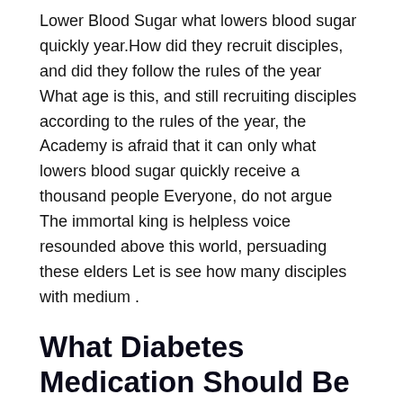Lower Blood Sugar what lowers blood sugar quickly year.How did they recruit disciples, and did they follow the rules of the year What age is this, and still recruiting disciples according to the rules of the year, the Academy is afraid that it can only what lowers blood sugar quickly receive a thousand people Everyone, do not argue The immortal king is helpless voice resounded above this world, persuading these elders Let is see how many disciples with medium .
What Diabetes Medication Should Be Avoided In Osteoporosis?
aptitude are left this year, and the school will rely on these disciples to take root and sprout in the future, but dare not main idea.